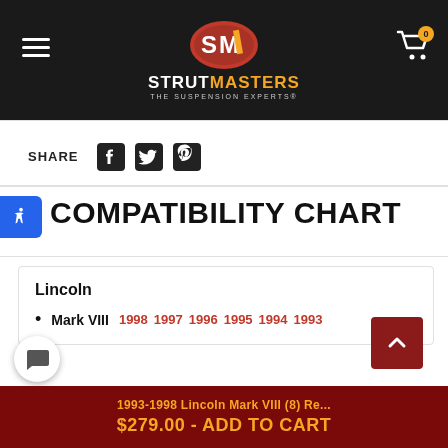[Figure (logo): StrutMasters logo - SM oval in red with white text, brand name STRUTMASTERS THE SUSPENSION EXPERTS in white and gold]
SHARE
COMPATIBILITY CHART
Lincoln
Mark VIII  1998  1997  1996  1995  1994  1993
1993-1998 Lincoln Mark VIII (8) Re...
$279.00 - ADD TO CART